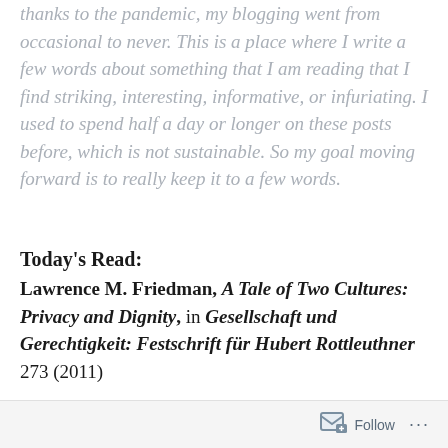thanks to the pandemic, my blogging went from occasional to never. This is a place where I write a few words about something that I am reading that I find striking, interesting, informative, or infuriating. I used to spend half a day or longer on these posts before, which is not sustainable. So my goal moving forward is to really keep it to a few words.
Today's Read:
Lawrence M. Friedman, A Tale of Two Cultures: Privacy and Dignity, in Gesellschaft und Gerechtigkeit: Festschrift für Hubert Rottleuthner 273 (2011)
Follow ...